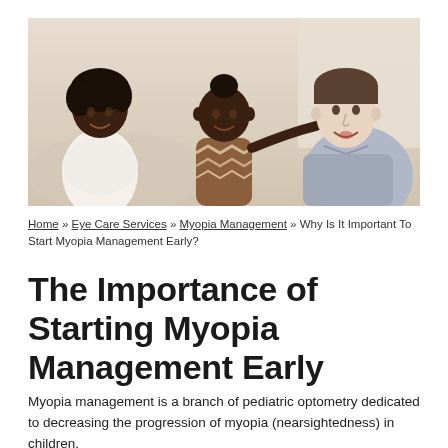[Figure (photo): A family scene with a Black mother on the left, a toddler in the center wearing a brown patterned sweater, and a white father on the right in a light blue shirt. The toddler is touching the father's mouth and they are all smiling and interacting happily in a bright indoor setting.]
Home » Eye Care Services » Myopia Management » Why Is It Important To Start Myopia Management Early?
The Importance of Starting Myopia Management Early
Myopia management is a branch of pediatric optometry dedicated to decreasing the progression of myopia (nearsightedness) in children.